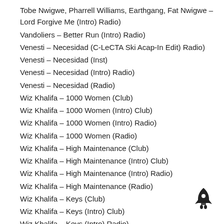Tobe Nwigwe, Pharrell Williams, Earthgang, Fat Nwigwe – Lord Forgive Me (Intro) Radio)
Vandoliers – Better Run (Intro) Radio)
Venesti – Necesidad (C-LeCTA Ski Acap-In Edit) Radio)
Venesti – Necesidad (Inst)
Venesti – Necesidad (Intro) Radio)
Venesti – Necesidad (Radio)
Wiz Khalifa – 1000 Women (Club)
Wiz Khalifa – 1000 Women (Intro) Club)
Wiz Khalifa – 1000 Women (Intro) Radio)
Wiz Khalifa – 1000 Women (Radio)
Wiz Khalifa – High Maintenance (Club)
Wiz Khalifa – High Maintenance (Intro) Club)
Wiz Khalifa – High Maintenance (Intro) Radio)
Wiz Khalifa – High Maintenance (Radio)
Wiz Khalifa – Keys (Club)
Wiz Khalifa – Keys (Intro) Club)
Wiz Khalifa – Keys (Intro) Radio)
Wiz Khalifa – Keys (Radio)
[Figure (illustration): A small black rocket ship icon in the lower right area of the page.]